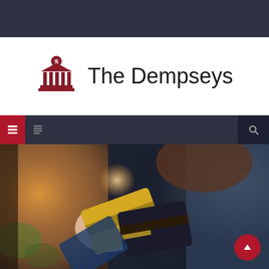The Dempseys
[Figure (logo): Bank/finance building icon with dollar sign, in dark red/maroon color]
[Figure (photo): Woman holding multiple credit cards including a gold card and a dark card, wearing a blue outfit, with warm blurred background lighting]